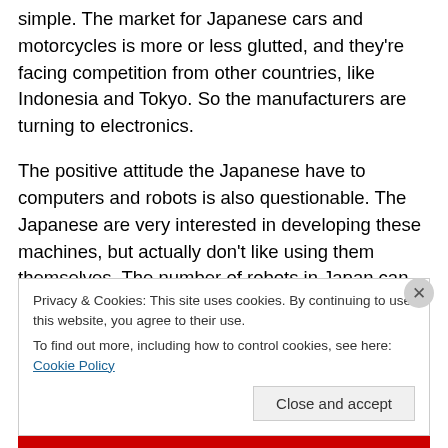simple. The market for Japanese cars and motorcycles is more or less glutted, and they're facing competition from other countries, like Indonesia and Tokyo. So the manufacturers are turning to electronics.
The positive attitude the Japanese have to computers and robots is also questionable. The Japanese are very interested in developing these machines, but actually don't like using them themselves. The number of robots in Japan can easily be exaggerated, as they include any machine tool as a robot. And while many British shops and
Privacy & Cookies: This site uses cookies. By continuing to use this website, you agree to their use.
To find out more, including how to control cookies, see here: Cookie Policy